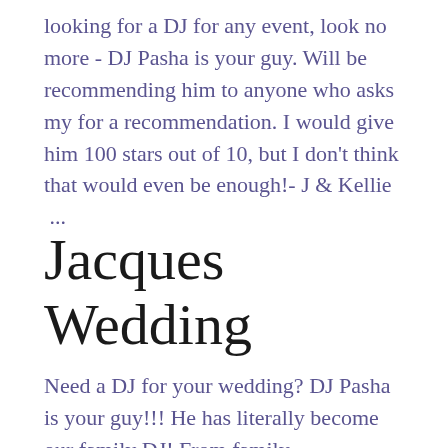looking for a DJ for any event, look no more - DJ Pasha is your guy. Will be recommending him to anyone who asks my for a recommendation. I would give him 100 stars out of 10, but I don't think that would even be enough!- J & Kellie  ...
Jacques Wedding
Need a DJ for your wedding? DJ Pasha is your guy!!! He has literally become our family DJ! From family